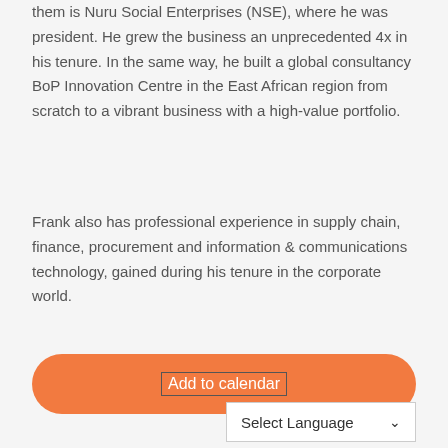them is Nuru Social Enterprises (NSE), where he was president. He grew the business an unprecedented 4x in his tenure. In the same way, he built a global consultancy BoP Innovation Centre in the East African region from scratch to a vibrant business with a high-value portfolio.
Frank also has professional experience in supply chain, finance, procurement and information & communications technology, gained during his tenure in the corporate world.
[Figure (other): Orange rounded button with label 'Add to calendar']
[Figure (other): Language selector dropdown showing 'Select Language' with a chevron]